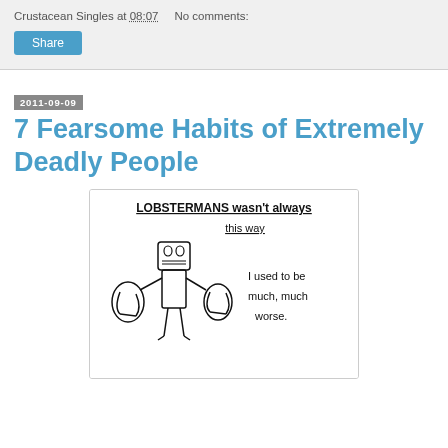Crustacean Singles at 08:07   No comments:
Share
2011-09-09
7 Fearsome Habits of Extremely Deadly People
[Figure (illustration): Hand-drawn cartoon of a person (Lobsterman) with a robotic/lobster-claw head and large lobster claws for hands, standing upright. Text in the image reads: 'LOBSTERMANS wasn't always this way' and 'I used to be much, much worse.']